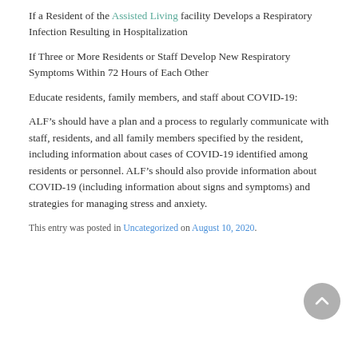If a Resident of the Assisted Living facility Develops a Respiratory Infection Resulting in Hospitalization
If Three or More Residents or Staff Develop New Respiratory Symptoms Within 72 Hours of Each Other
Educate residents, family members, and staff about COVID-19:
ALF’s should have a plan and a process to regularly communicate with staff, residents, and all family members specified by the resident, including information about cases of COVID-19 identified among residents or personnel. ALF’s should also provide information about COVID-19 (including information about signs and symptoms) and strategies for managing stress and anxiety.
This entry was posted in Uncategorized on August 10, 2020.